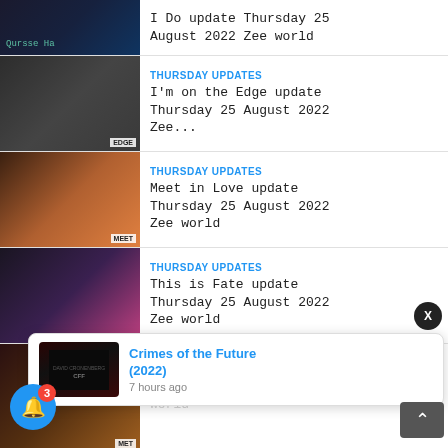I Do update Thursday 25 August 2022 Zee world
THURSDAY UPDATES
I'm on the Edge update Thursday 25 August 2022 Zee...
THURSDAY UPDATES
Meet in Love update Thursday 25 August 2022 Zee world
THURSDAY UPDATES
This is Fate update Thursday 25 August 2022 Zee world
THURSDAY UPDATES
Meet in Love update Thursday 25 August 2022 Zee world (partial)
[Figure (screenshot): Notification popup showing 'Crimes of the Future (2022)' with thumbnail and '7 hours ago' text]
3 (notification badge on bell icon)